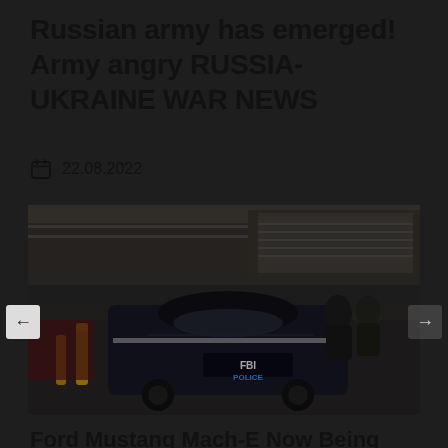Russian army has emerged! Army angry RUSSIA-UKRAINE WAR NEWS
22.08.2022
[Figure (photo): An FBI Police Ford Mustang Mach-E police car parked outside a building, with officers in the background. The dark-colored vehicle has 'FBI POLICE' markings on the door. Yellow bollards are visible in the background.]
Ford Mustang Mach-E Now Being Used By FBI